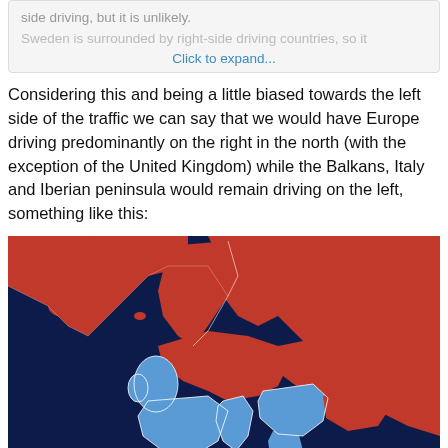side driving, but it is unlikely.
Sweden is surrounded by right-side driving countries, so it
Click to expand...
Considering this and being a little biased towards the left side of the traffic we can say that we would have Europe driving predominantly on the right in the north (with the exception of the United Kingdom) while the Balkans, Italy and Iberian peninsula would remain driving on the left, something like this:
[Figure (map): A map of Europe showing countries color-coded by driving side. Dark navy blue background (ocean). Red countries drive on the right side. Light blue countries drive on the left side. The United Kingdom and Ireland are shown in light blue, as are the Balkans, Italy, and Iberian peninsula regions. Northern and Eastern European countries are shown in red.]